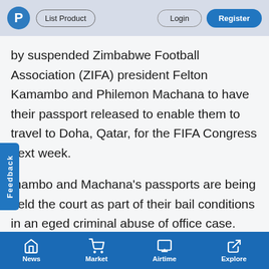List Product | Login | Register
by suspended Zimbabwe Football Association (ZIFA) president Felton Kamambo and Philemon Machana to have their passport released to enable them to travel to Doha, Qatar, for the FIFA Congress next week.
mambo and Machana's passports are being held the court as part of their bail conditions in an eged criminal abuse of office case.
The duo's lawyer, Admire Rubaya, argued that the court must suspend the bail conditions for the
News | Market | Airtime | Explore